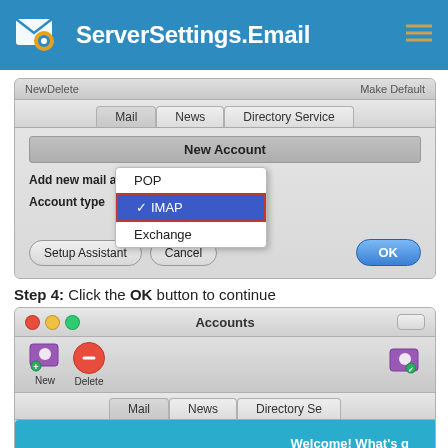[Figure (screenshot): ServerSettings.Email website header with logo icon, site name, and hamburger menu]
[Figure (screenshot): macOS Mail New Account dialog showing a dropdown menu with POP, IMAP (selected, highlighted blue with red border), and Exchange options. Buttons: Setup Assistant, Cancel, OK]
Step 4: Click the OK button to continue
[Figure (screenshot): macOS Accounts window showing window chrome with traffic lights, New and Delete toolbar buttons, and a tab bar with Mail, News, Directory Service tabs. A chat widget reads 'Welcome! What's g']